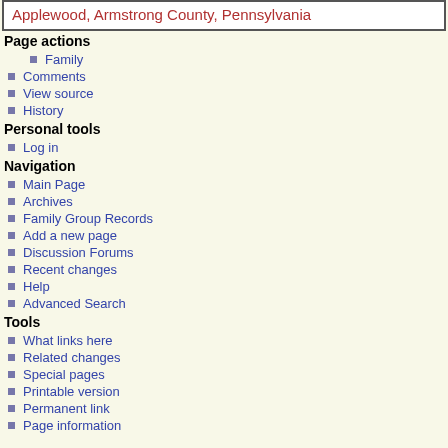Applewood, Armstrong County, Pennsylvania
Page actions
Family
Comments
View source
History
Personal tools
Log in
Navigation
Main Page
Archives
Family Group Records
Add a new page
Discussion Forums
Recent changes
Help
Advanced Search
Tools
What links here
Related changes
Special pages
Printable version
Permanent link
Page information